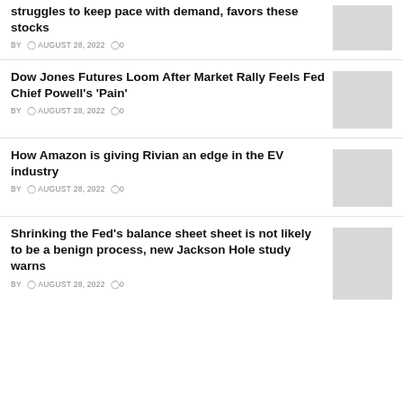struggles to keep pace with demand, favors these stocks
BY  © AUGUST 28, 2022  ◯0
[Figure (photo): Thumbnail image placeholder for first article]
Dow Jones Futures Loom After Market Rally Feels Fed Chief Powell's 'Pain'
BY  © AUGUST 28, 2022  ◯0
[Figure (photo): Thumbnail image placeholder for second article]
How Amazon is giving Rivian an edge in the EV industry
BY  © AUGUST 28, 2022  ◯0
[Figure (photo): Thumbnail image placeholder for third article]
Shrinking the Fed's balance sheet sheet is not likely to be a benign process, new Jackson Hole study warns
BY  © AUGUST 28, 2022  ◯0
[Figure (photo): Thumbnail image placeholder for fourth article]